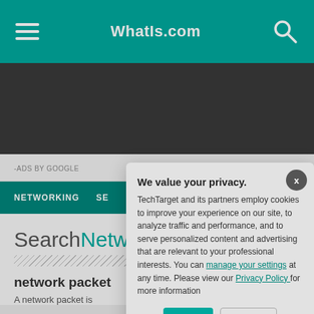WhatIs.com
[Figure (screenshot): Dark advertisement banner area]
-ADS BY GOOGLE
NETWORKING  SE...
SearchNetwo...
network packet
A network packet is
We value your privacy. TechTarget and its partners employ cookies to improve your experience on our site, to analyze traffic and performance, and to serve personalized content and advertising that are relevant to your professional interests. You can manage your settings at any time. Please view our Privacy Policy for more information